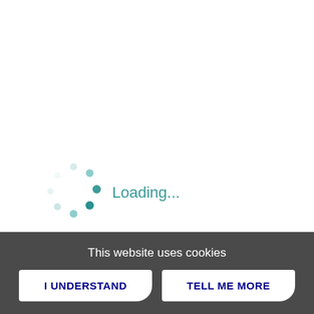[Figure (infographic): A circular loading spinner made of dots in varying shades of teal/cyan, arranged in a circle pattern indicating a loading state]
Loading...
This website uses cookies
I UNDERSTAND
TELL ME MORE